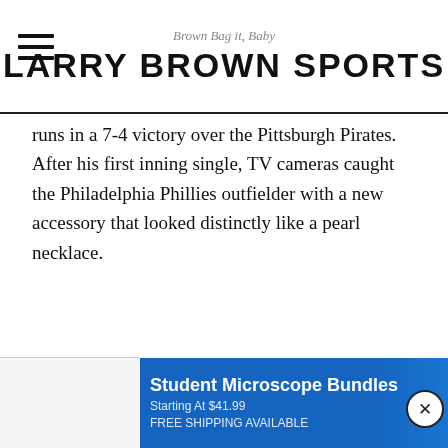Brown Bag it, Baby
LARRY BROWN SPORTS
runs in a 7-4 victory over the Pittsburgh Pirates. After his first inning single, TV cameras caught the Philadelphia Phillies outfielder with a new accessory that looked distinctly like a pearl necklace.
[Figure (other): Advertisement banner: Student Microscope Bundles, Starting At $41.99, FREE SHIPPING AVAILABLE, with microscope image on blue background]